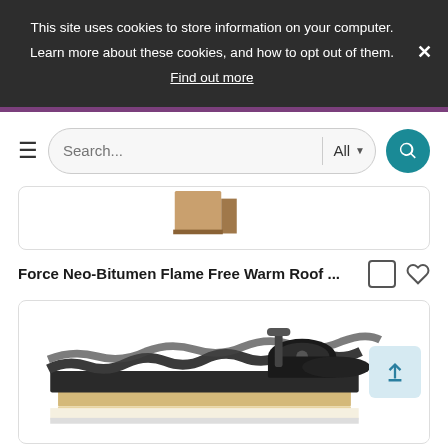This site uses cookies to store information on your computer. Learn more about these cookies, and how to opt out of them. Find out more
[Figure (screenshot): Search bar with hamburger menu, search input, All dropdown, and teal search button]
[Figure (photo): Partial product image at top of card]
Force Neo-Bitumen Flame Free Warm Roof ...
[Figure (photo): Roofing product showing layered insulation board with membrane roll and installation tools]